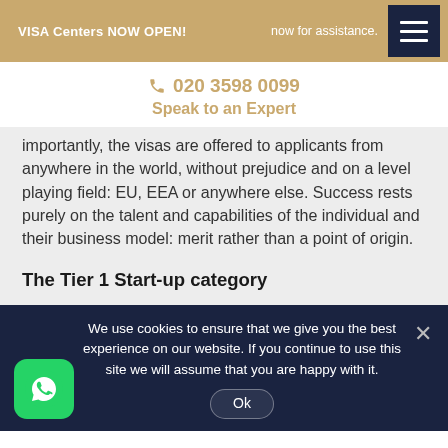VISA Centers NOW OPEN! | now for assistance.
020 3598 0099
Speak to an Expert
importantly, the visas are offered to applicants from anywhere in the world, without prejudice and on a level playing field: EU, EEA or anywhere else. Success rests purely on the talent and capabilities of the individual and their business model: merit rather than a point of origin.
The Tier 1 Start-up category
We use cookies to ensure that we give you the best experience on our website. If you continue to use this site we will assume that you are happy with it.
Ok